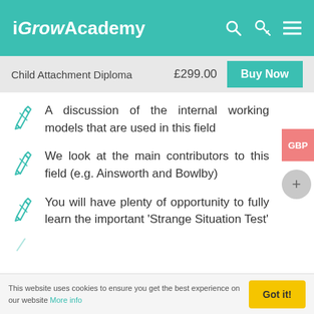iGrowAcademy
Child Attachment Diploma  £299.00  Buy Now
A discussion of the internal working models that are used in this field
We look at the main contributors to this field (e.g. Ainsworth and Bowlby)
You will have plenty of opportunity to fully learn the important 'Strange Situation Test'
This website uses cookies to ensure you get the best experience on our website More info  Got it!